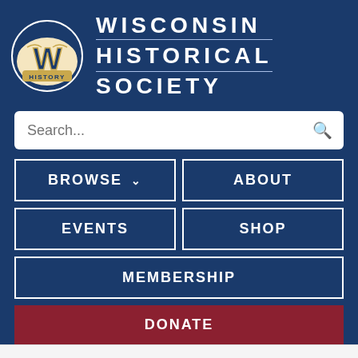[Figure (logo): Wisconsin Historical Society logo — circular badge with stylized W and 'HISTORY' text in navy, gold, and white]
WISCONSIN HISTORICAL SOCIETY
Search...
BROWSE ∨
ABOUT
EVENTS
SHOP
MEMBERSHIP
DONATE
PHOTOGRAPH
Sexton's Eddy